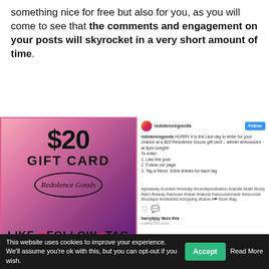something nice for free but also for you, as you will come to see that the comments and engagement on your posts will skyrocket in a very short amount of time.
[Figure (screenshot): Instagram post by redolencegoods showing a $20 gift card giveaway. Left side shows a gradient pink-to-purple gift card image reading '$20 GIFT CARD Redolence Goods LIKE ❤ FOLLOW ❤ TAG'. Right side shows the Instagram post interface with username redolencegoods, a Follow button, caption about entering the giveaway by liking, following, and tagging, hashtags including #giveaway #contest #monday, heart/comment icons, 'harrybjsy likes this', and a timestamp.]
This website uses cookies to improve your experience. We'll assume you're ok with this, but you can opt-out if you wish. Accept Read More